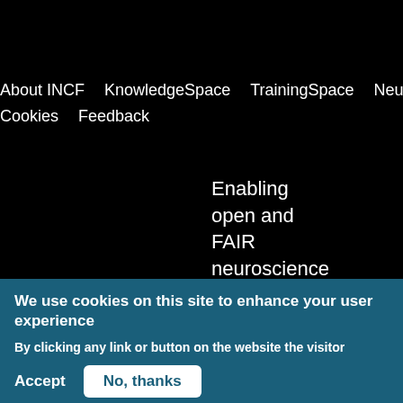About INCF  KnowledgeSpace  TrainingSpace  Neurostars  Cookies  Feedback
Enabling open and FAIR neuroscience
We use cookies on this site to enhance your user experience
By clicking any link or button on the website the visitor accepts the cookie policy. No, give me more info
Accept  No, thanks